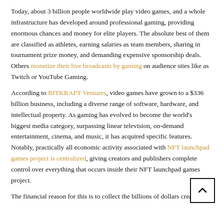Today, about 3 billion people worldwide play video games, and a whole infrastructure has developed around professional gaming, providing enormous chances and money for elite players. The absolute best of them are classified as athletes, earning salaries as team members, sharing in tournament prize money, and demanding expensive sponsorship deals. Others monetize their live broadcasts by gaming on audience sites like as Twitch or YouTube Gaming.
According to BITKRAFT Ventures, video games have grown to a $336 billion business, including a diverse range of software, hardware, and intellectual property. As gaming has evolved to become the world's biggest media category, surpassing linear television, on-demand entertainment, cinema, and music, it has acquired specific features. Notably, practically all economic activity associated with NFT launchpad games project is centralized, giving creators and publishers complete control over everything that occurs inside their NFT launchpad games project.
The financial reason for this is to collect the billions of dollars created by